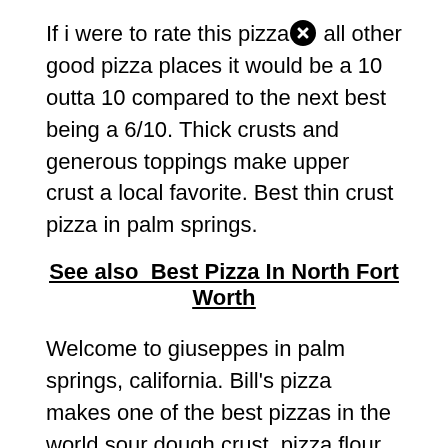If i were to rate this pizza [icon] all other good pizza places it would be a 10 outta 10 compared to the next best being a 6/10. Thick crusts and generous toppings make upper crust a local favorite. Best thin crust pizza in palm springs.
See also  Best Pizza In North Fort Worth
Welcome to giuseppes in palm springs, california. Bill's pizza makes one of the best pizzas in the world.sour dough crust, pizza flour imported form italy, only the best of the best ingredients.extra virgin olive oil, custom made nitrate free sausages, caramelized onions, fresh basil, imported sheep's milk feta,.create your own pizza at a very affordable price or choos [icon] from on of 24 pizza. The